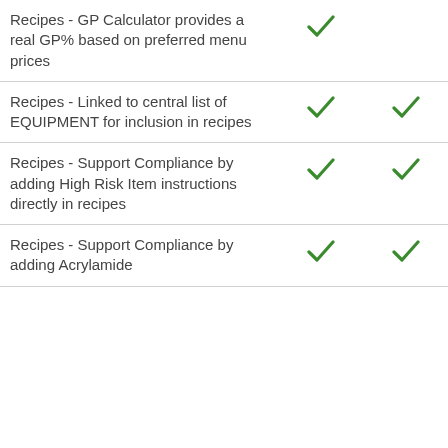| Feature | Col1 | Col2 |
| --- | --- | --- |
| Recipes - GP Calculator provides a real GP% based on preferred menu prices | ✓ |  |
| Recipes - Linked to central list of EQUIPMENT for inclusion in recipes | ✓ | ✓ |
| Recipes - Support Compliance by adding High Risk Item instructions directly in recipes | ✓ | ✓ |
| Recipes - Support Compliance by adding Acrylamide | ✓ | ✓ |